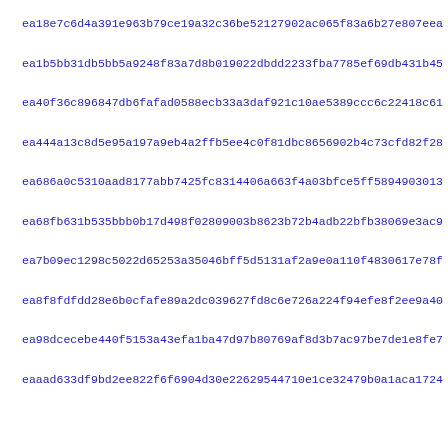ea18e7c6d4a391e963b79ce19a32c36be52127902ac065f83a6b27e807eea
ea1b5bb31db5bb5a9248f83a7d8b019022dbdd2233fba7785ef69db431b45
ea40f36c896847db6fafad0588ecb33a3daf921c10ae5389ccc6c22418c61
ea444a13c8d5e95a197a9eb4a2ffb5ee4c0f81dbc8656902b4c73cfd82f28
ea686a0c5310aad8177abb7425fc8314406a663f4a03bfce5ff5894903013
ea68fb631b535bbb0b17d498f02809003b8623b72b4adb22bfb38069e3ac9
ea7b09ec1298c5022d65253a35046bff5d5131af2a9e0a110f4830617e78f
ea8f8fdfdd28e6b0cfafe89a2dc039627fd8c6e726a224f94efe8f2ee9a40
ea98dcecebe440f5153a43efa1ba47d97b80769af8d3b7ac97be7de1e8fe7
eaaad633df9bd2ee822f6f6904d30e22629544710e1ce32479b0a1aca1724